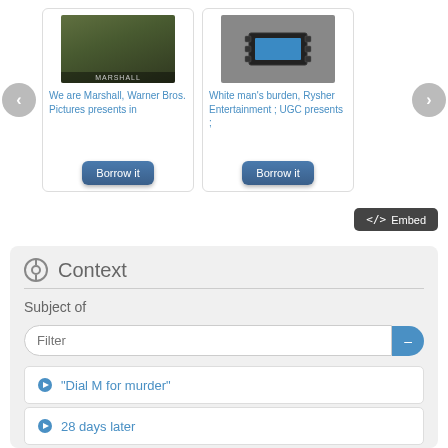[Figure (screenshot): Carousel of movie cards with 'We are Marshall, Warner Bros. Pictures presents in' and 'White man's burden, Rysher Entertainment ; UGC presents ;' each with Borrow it buttons, and left/right navigation arrows]
</> Embed
Context
Subject of
Filter
"Dial M for murder"
28 days later